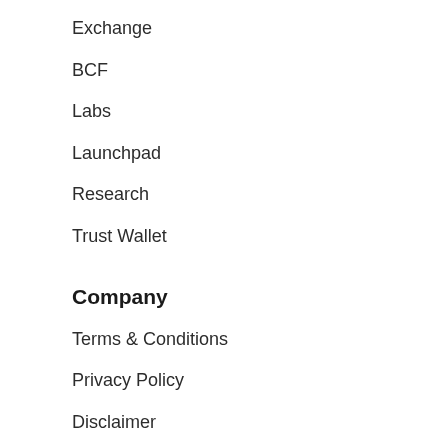Exchange
BCF
Labs
Launchpad
Research
Trust Wallet
Company
Terms & Conditions
Privacy Policy
Disclaimer